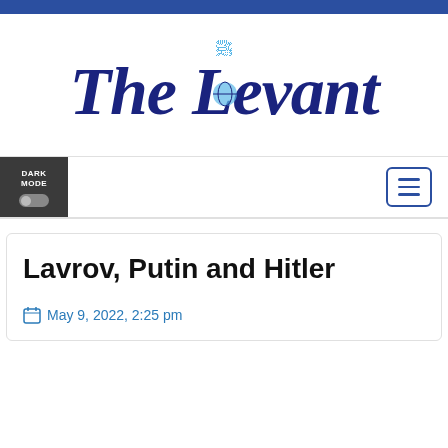[Figure (logo): The Levant newspaper logo in dark blue gothic/blackletter font with light blue Arabic calligraphy above and a globe in the letter O]
Lavrov, Putin and Hitler
May 9, 2022, 2:25 pm